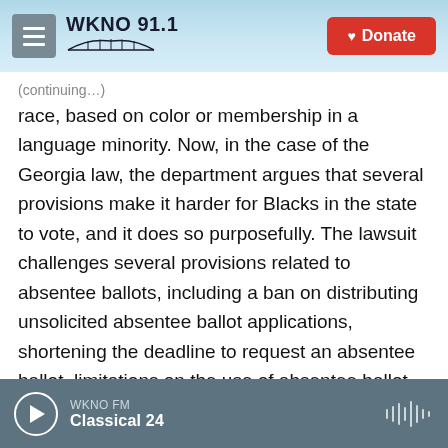WKNO 91.1 | Donate
race, based on color or membership in a language minority. Now, in the case of the Georgia law, the department argues that several provisions make it harder for Blacks in the state to vote, and it does so purposefully. The lawsuit challenges several provisions related to absentee ballots, including a ban on distributing unsolicited absentee ballot applications, shortening the deadline to request an absentee ballot, limitations on the use of absentee ballot drop boxes. Here is Kristen Clarke. She leads the Justice Department's Civil Rights Division.
(SOUNDBITE OF ARCHIVED RECORDING)
WKNO FM | Classical 24